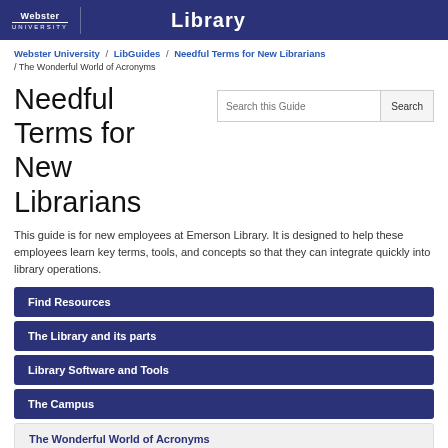Webster University Library
Webster University / LibGuides / Needful Terms for New Librarians / The Wonderful World of Acronyms
Needful Terms for New Librarians
This guide is for new employees at Emerson Library. It is designed to help these employees learn key terms, tools, and concepts so that they can integrate quickly into library operations.
Find Resources
The Library and its parts
Library Software and Tools
The Campus
The Wonderful World of Acronyms
Research Guides